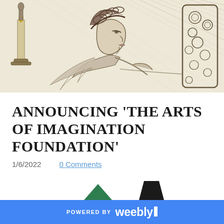[Figure (illustration): Pencil or ink sketch illustration of a woman in profile view with an ornate braided hairstyle, leaning forward, with a candle and decorative frame/mirror in the background. Classical art nouveau style drawing on a cream/beige background.]
ANNOUNCING 'THE ARTS OF IMAGINATION FOUNDATION'
1/6/2022     0 Comments
[Figure (illustration): Partial view of two shapes at the bottom of the page — a green triangle-like shape on the left and a dark trapezoid shape on the right, suggesting tops of illustrated figures cut off by the page boundary.]
POWERED BY weebly